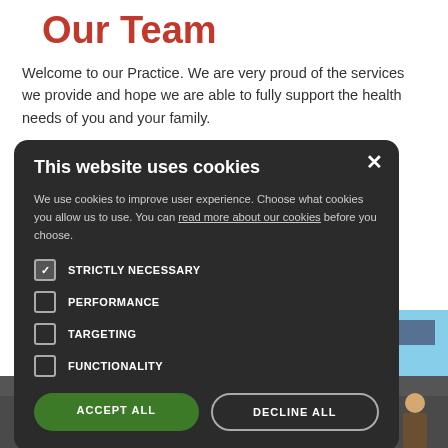Our Team
Welcome to our Practice. We are very proud of the services we provide and hope we are able to fully support the health needs of you and your family.
...services ...h to make. ...h any ...and will be ...ay have.
[Figure (screenshot): Cookie consent modal dialog with dark background. Title: 'This website uses cookies'. Body text: 'We use cookies to improve user experience. Choose what cookies you allow us to use. You can read more about our cookies before you choose.' Checkboxes: STRICTLY NECESSARY (checked), PERFORMANCE (unchecked), TARGETING (unchecked), FUNCTIONALITY (unchecked). Buttons: ACCEPT ALL (green), DECLINE ALL (outline).]
[Figure (photo): Photo strip at bottom showing group of people. Photo on right showing a building exterior with people in foreground.]